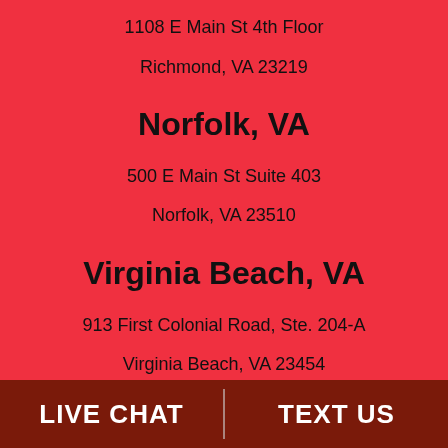1108 E Main St 4th Floor
Richmond, VA 23219
Norfolk, VA
500 E Main St Suite 403
Norfolk, VA 23510
Virginia Beach, VA
913 First Colonial Road, Ste. 204-A
Virginia Beach, VA 23454
LIVE CHAT | TEXT US